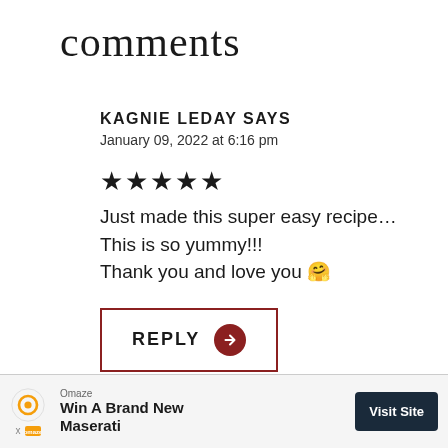comments
KAGNIE LEDAY SAYS
January 09, 2022 at 6:16 pm
★★★★★
Just made this super easy recipe...This is so yummy!!! Thank you and love you 🤗
REPLY →
[Figure (other): Advertisement banner for Omaze: Win A Brand New Maserati with Visit Site button]